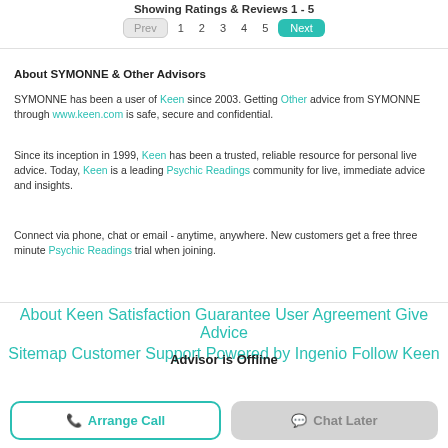Showing Ratings & Reviews 1 - 5
Prev 1 2 3 4 5 Next
About SYMONNE & Other Advisors
SYMONNE has been a user of Keen since 2003. Getting Other advice from SYMONNE through www.keen.com is safe, secure and confidential.
Since its inception in 1999, Keen has been a trusted, reliable resource for personal live advice. Today, Keen is a leading Psychic Readings community for live, immediate advice and insights.
Connect via phone, chat or email - anytime, anywhere. New customers get a free three minute Psychic Readings trial when joining.
About Keen   Satisfaction Guarantee   User Agreement   Give Advice   Sitemap   Customer Support   Powered by Ingenio   Follow Keen
Advisor is Offline
Arrange Call
Chat Later